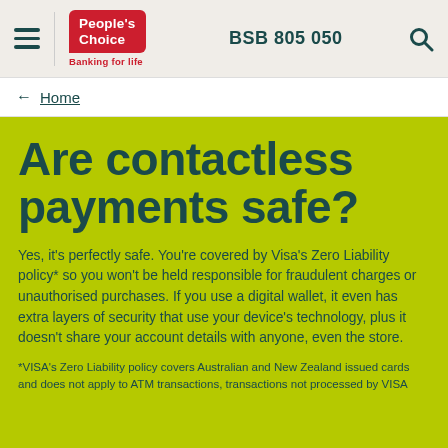People's Choice | Banking for life | BSB 805 050
← Home
Are contactless payments safe?
Yes, it's perfectly safe. You're covered by Visa's Zero Liability policy* so you won't be held responsible for fraudulent charges or unauthorised purchases. If you use a digital wallet, it even has extra layers of security that use your device's technology, plus it doesn't share your account details with anyone, even the store.
*VISA's Zero Liability policy covers Australian and New Zealand issued cards and does not apply to ATM transactions, transactions not processed by VISA